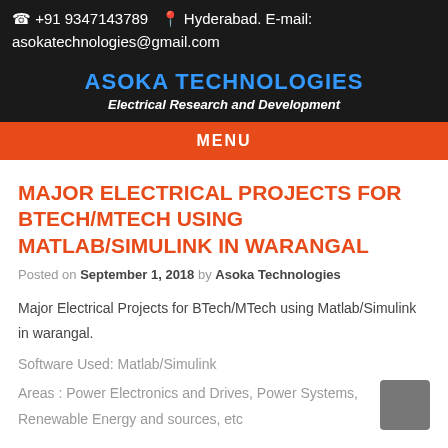☎ +91 9347143789  📍 Hyderabad. E-mail: asokatechnologies@gmail.com
ASOKA TECHNOLOGIES
Electrical Research and Development
MENU
MAJOR ELECTRICAL PROJECTS FOR BTECH/MTECH USING MATLAB/SIMULINK IN WARANGAL
Posted on September 1, 2018 by Asoka Technologies
Major Electrical Projects for BTech/MTech using Matlab/Simulink in warangal.
Software Used: Matlab/Simulink
Areas : Power Electronics and Drives, Power Systems, Renewable Energy and sources, etc